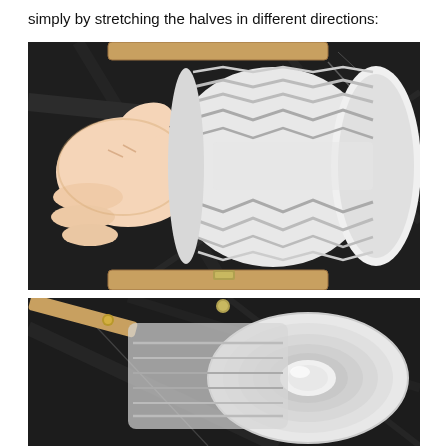simply by stretching the halves in different directions:
[Figure (photo): A hand holding a white collapsible/accordion-style cylindrical object (appears to be a lamp or device) that is stretched or twisted, with a wooden frame visible. The background is a dark marble or stone surface.]
[Figure (photo): A close-up view of the same white collapsible/accordion cylindrical object from a different angle, showing the top/end of the device, with a wooden frame and metal hardware visible. Dark marble background.]